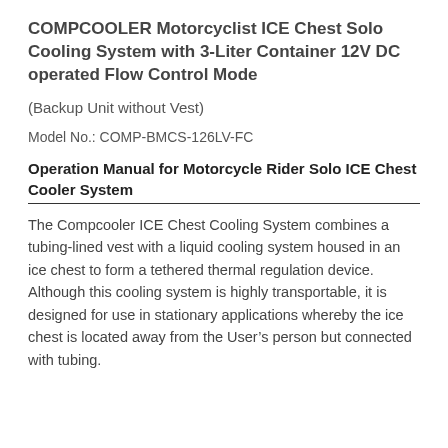COMPCOOLER Motorcyclist ICE Chest Solo Cooling System with 3-Liter Container 12V DC operated Flow Control Mode
(Backup Unit without Vest)
Model No.: COMP-BMCS-126LV-FC
Operation Manual for Motorcycle Rider Solo ICE Chest Cooler System
The Compcooler ICE Chest Cooling System combines a tubing-lined vest with a liquid cooling system housed in an ice chest to form a tethered thermal regulation device. Although this cooling system is highly transportable, it is designed for use in stationary applications whereby the ice chest is located away from the User’s person but connected with tubing.